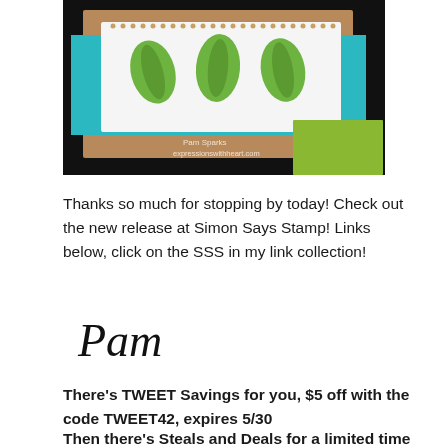[Figure (photo): Photo of handmade cards with teal, kraft brown, and green color scheme, featuring leaf die-cut decorations. Watermark text reads 'Pam Sparks expressionswithheart.com']
Thanks so much for stopping by today! Check out the new release at Simon Says Stamp!  Links below, click on the SSS in my link collection!
[Figure (illustration): Handwritten signature reading 'Pam' in cursive script]
There's TWEET Savings for you, $5 off with the code TWEET42, expires 5/30
Then there's Steals and Deals for a limited time with